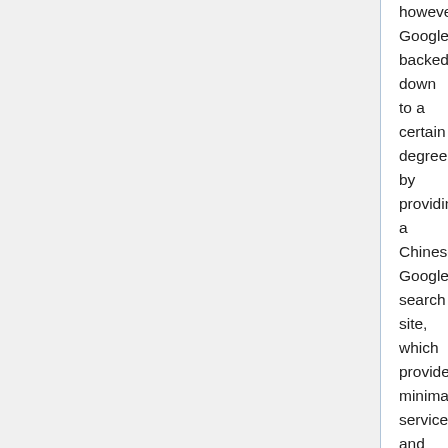however, Google backed down to a certain degree by providing a Chinese Google search site, which provided minimal services and a link to the Hong Kong Google website, rather than an automatic redirect to the Hong Kong site, which was Google's initial approach. See this piece from TechCrunch which discusses the aftermath[65]. Google's ultimate solution could be characterised as a weak norms-based approach.
As noted above, there are more code-based solutions that could be utilised by online content providers that would make it more difficult for the Chinese government to engage in censorship. But the problem is creating incentives for companies to use these tools, when on its face there may not seem to be much in it for them. Some weak code-based